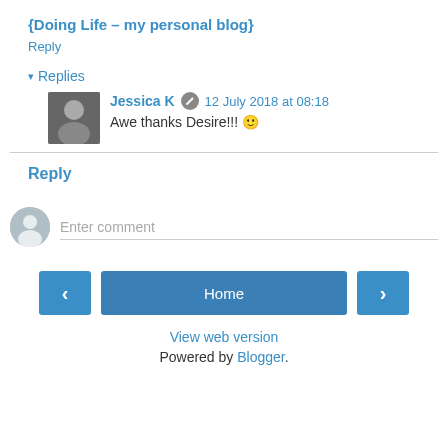{Doing Life – my personal blog}
Reply
▾ Replies
Jessica K  12 July 2018 at 08:18
Awe thanks Desire!!! 🙂
Reply
Enter comment
Home
View web version
Powered by Blogger.